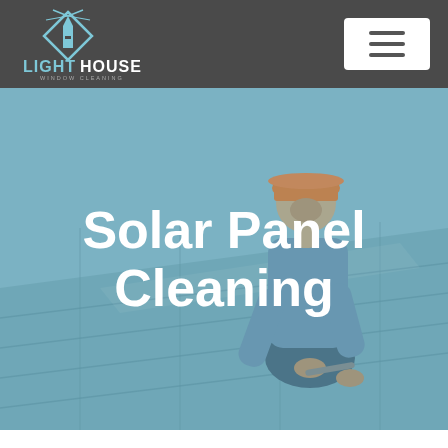[Figure (logo): Lighthouse Window Cleaning logo with diamond/lighthouse icon and text]
[Figure (other): Menu hamburger button (three horizontal lines) on white background]
[Figure (photo): Worker in orange hard hat and blue shirt working on solar panels, teal-tinted overlay]
Solar Panel Cleaning